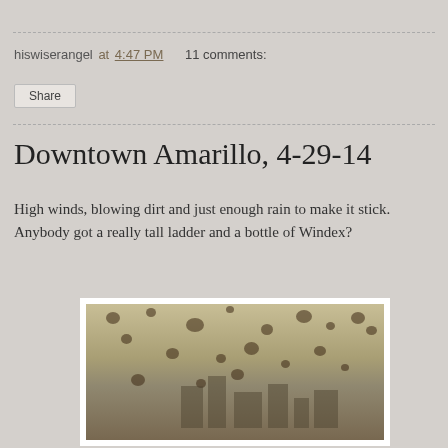hiswiserangel at 4:47 PM   11 comments:
Share
Downtown Amarillo, 4-29-14
High winds, blowing dirt and just enough rain to make it stick. Anybody got a really tall ladder and a bottle of Windex?
[Figure (photo): Dusty, muddy photo of downtown Amarillo skyline partially obscured by blowing dirt and rain droplets on a window]